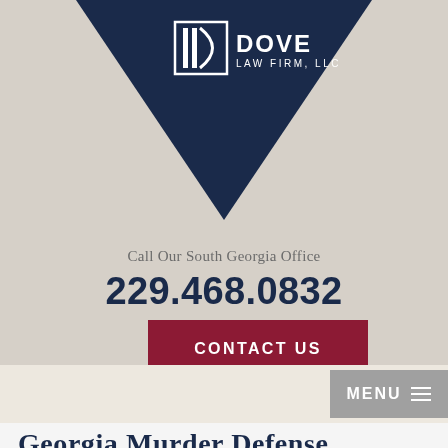[Figure (logo): Dove Law Firm, LLC logo on dark navy triangle background — white D letter mark with pillars inside a square, text DOVE LAW FIRM, LLC to the right]
Call Our South Georgia Office
229.468.0832
CONTACT US
MENU
Georgia Murder Defense